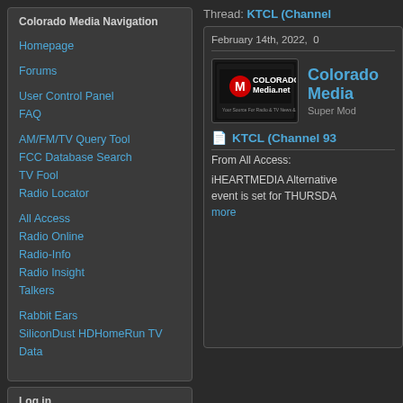Colorado Media Navigation
Homepage
Forums
User Control Panel
FAQ
AM/FM/TV Query Tool
FCC Database Search
TV Fool
Radio Locator
All Access
Radio Online
Radio-Info
Radio Insight
Talkers
Rabbit Ears
SiliconDust HDHomeRun TV Data
Log in
User Name:
Password:
Thread: KTCL (Channel
February 14th, 2022,  0
[Figure (logo): Colorado Media.net logo - red and white logo with text 'COLORADO Media.net' and tagline about radio and TV news]
Colorado Media
Super Mod
KTCL (Channel 93
From All Access:
iHEARTMEDIA Alternative event is set for THURSDA more